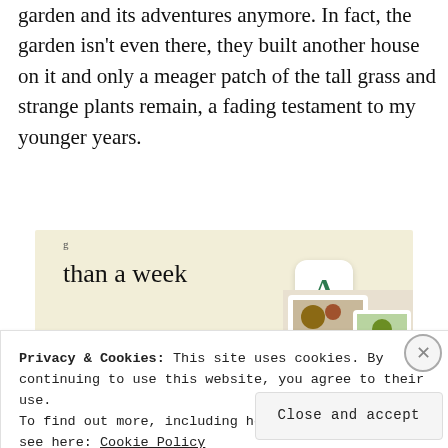garden and its adventures anymore. In fact, the garden isn't even there, they built another house on it and only a meager patch of the tall grass and strange plants remain, a fading testament to my younger years.
[Figure (other): Advertisement banner with cream/beige background showing partial text 'than a week', a green 'Explore options' button, and app screenshots showing food and an A-logo icon.]
Privacy & Cookies: This site uses cookies. By continuing to use this website, you agree to their use.
To find out more, including how to control cookies, see here: Cookie Policy
Close and accept